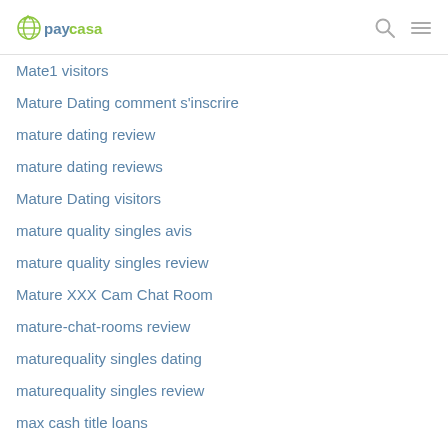paycasa
Mate1 visitors
Mature Dating comment s'inscrire
mature dating review
mature dating reviews
Mature Dating visitors
mature quality singles avis
mature quality singles review
Mature XXX Cam Chat Room
mature-chat-rooms review
maturequality singles dating
maturequality singles review
max cash title loans